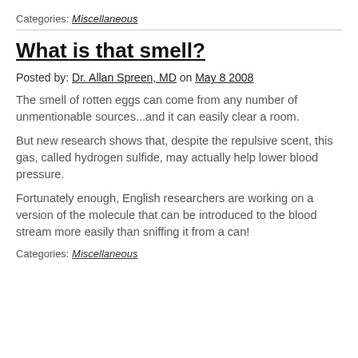Categories: Miscellaneous
What is that smell?
Posted by: Dr. Allan Spreen, MD on May 8 2008
The smell of rotten eggs can come from any number of unmentionable sources…and it can easily clear a room.
But new research shows that, despite the repulsive scent, this gas, called hydrogen sulfide, may actually help lower blood pressure.
Fortunately enough, English researchers are working on a version of the molecule that can be introduced to the blood stream more easily than sniffing it from a can!
Categories: Miscellaneous